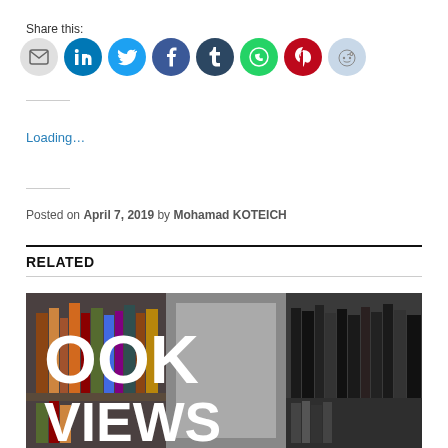Share this:
[Figure (infographic): Row of social media share icon circles: Email (grey), LinkedIn (blue), Twitter (cyan), Facebook (blue), Tumblr (dark navy), WhatsApp (green), Pinterest (red), Reddit (light blue)]
Loading…
Posted on April 7, 2019 by Mohamad KOTEICH
RELATED
[Figure (photo): Photo of bookshelves with large white bold text overlay reading 'OOK VIEWS' (partially cropped, likely 'BOOK REVIEWS')]